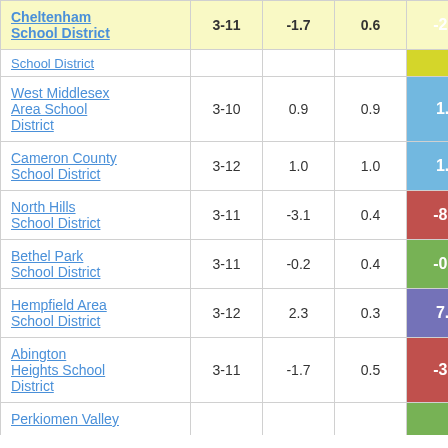|  |  |  |  |  |
| --- | --- | --- | --- | --- |
| Cheltenham School District | 3-11 | -1.7 | 0.6 | -2.92 |
| [partial row - School District] |  |  |  |  |
| West Middlesex Area School District | 3-10 | 0.9 | 0.9 | 1.06 |
| Cameron County School District | 3-12 | 1.0 | 1.0 | 1.04 |
| North Hills School District | 3-11 | -3.1 | 0.4 | -8.67 |
| Bethel Park School District | 3-11 | -0.2 | 0.4 | -0.56 |
| Hempfield Area School District | 3-12 | 2.3 | 0.3 | 7.58 |
| Abington Heights School District | 3-11 | -1.7 | 0.5 | -3.75 |
| Perkiomen Valley [partial] |  |  |  |  |